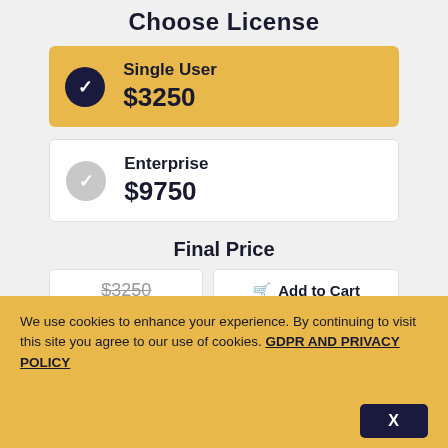Choose License
Single User $3250
Enterprise $9750
Final Price
$3250 Add to Cart
We use cookies to enhance your experience. By continuing to visit this site you agree to our use of cookies. GDPR AND PRIVACY POLICY